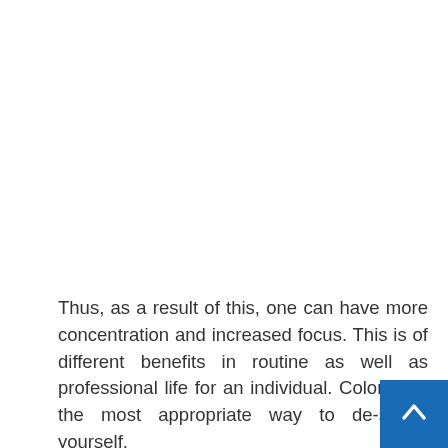Thus, as a result of this, one can have more concentration and increased focus. This is of different benefits in routine as well as professional life for an individual. Coloring is the most appropriate way to de-stress yourself.
It can help you get back your peace of mind and